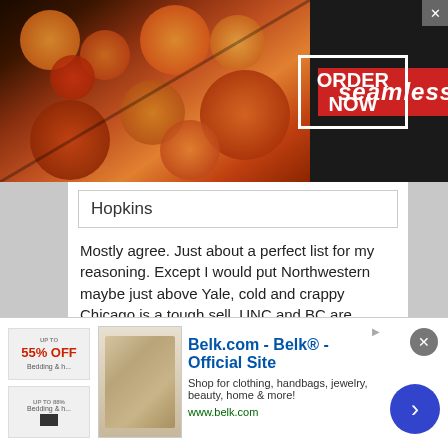[Figure (screenshot): Seamless food delivery advertisement banner with pizza image, red Seamless badge, and ORDER NOW button in white box]
Hopkins
Mostly agree. Just about a perfect list for my reasoning. Except I would put Northwestern maybe just above Yale, cold and crappy Chicago is a tough sell. UNC and BC are decent academically, don't compare with the rest on this list, but give you a shot at a title. Other popular schools I agree would not be on my list for my daughter, MD, Florida, Syracuse etc...good lacrosse, shot at title, but if your daughter had a shot at any or these on this list, it's a no brainer, unless she wants to be a college coach out the back, I discourage
[Figure (screenshot): Belk.com advertisement with bedding image, Belk Official Site text, and navigation arrow button]